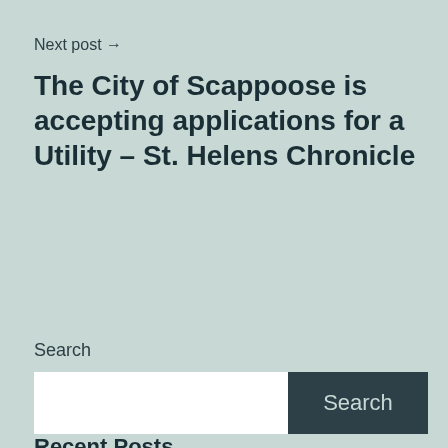Next post →
The City of Scappoose is accepting applications for a Utility – St. Helens Chronicle
Search
Search
Recent Posts